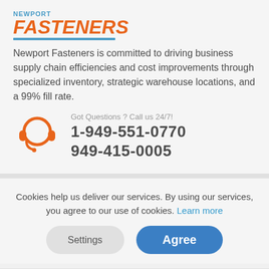[Figure (logo): Newport Fasteners logo with orange italic text and blue underline]
Newport Fasteners is committed to driving business supply chain efficiencies and cost improvements through specialized inventory, strategic warehouse locations, and a 99% fill rate.
Got Questions ? Call us 24/7!
1-949-551-0770
949-415-0005
Cookies help us deliver our services. By using our services, you agree to our use of cookies. Learn more
Settings   Agree
Copyright 2020 © . All Rights Reserved.